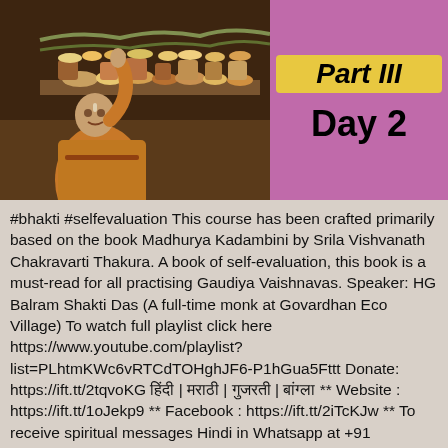[Figure (photo): A devotee in saffron robes offering food at an elaborate altar with many preparations and flowers]
Part III
Day 2
#bhakti #selfevaluation This course has been crafted primarily based on the book Madhurya Kadambini by Srila Vishvanath Chakravarti Thakura. A book of self-evaluation, this book is a must-read for all practising Gaudiya Vaishnavas. Speaker: HG Balram Shakti Das (A full-time monk at Govardhan Eco Village) To watch full playlist click here https://www.youtube.com/playlist?list=PLhtmKWc6vRTCdTOHghJF6-P1hGua5Fttt Donate: https://ift.tt/2tqvoKG हिंदी | मराठी | गुजरती | बांग्ला ** Website : https://ift.tt/1oJekp9 ** Facebook : https://ift.tt/2iTcKJw ** To receive spiritual messages Hindi in Whatsapp at +91 9987949494 ** To receive spiritual messages English in Whatsapp at +91 9987060606 ** Twitter : https://twitter.com/idtsevaks ** Soundcloud : https://ift.tt/2jNc3A3 ** Donate : https://ift.tt/2tqvoKG ** Disclaimer : https://ift.tt/2SaJuNr __ ISKCON Desire Tree started in year 2002, With purpose of spreading Krishna